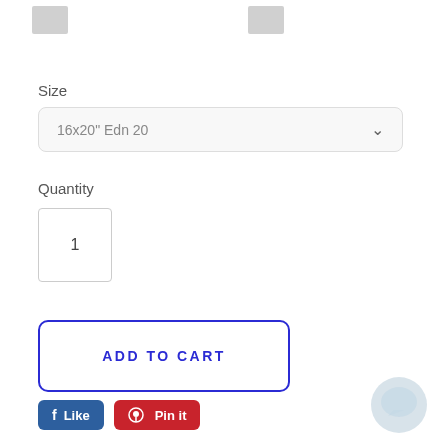[Figure (photo): Two small product thumbnail images at the top of the page]
Size
16x20" Edn 20
Quantity
1
ADD TO CART
Like
Pin it
[Figure (illustration): Chat bubble / customer support icon in light blue at the bottom right]